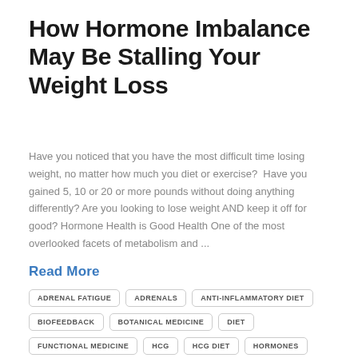How Hormone Imbalance May Be Stalling Your Weight Loss
Have you noticed that you have the most difficult time losing weight, no matter how much you diet or exercise?  Have you gained 5, 10 or 20 or more pounds without doing anything differently? Are you looking to lose weight AND keep it off for good? Hormone Health is Good Health One of the most overlooked facets of metabolism and ...
Read More
ADRENAL FATIGUE
ADRENALS
ANTI-INFLAMMATORY DIET
BIOFEEDBACK
BOTANICAL MEDICINE
DIET
FUNCTIONAL MEDICINE
HCG
HCG DIET
HORMONES